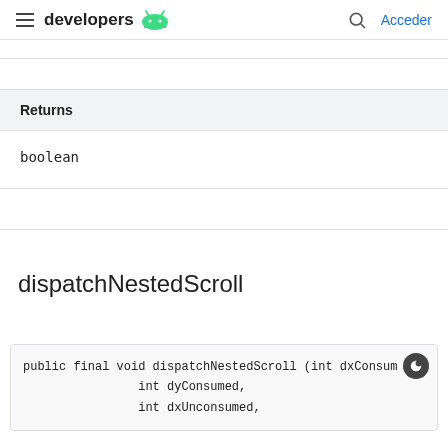developers | Acceder
| Returns |
| --- |
| boolean |
dispatchNestedScroll
public final void dispatchNestedScroll (int dxConsumed,
                int dyConsumed,
                int dxUnconsumed,